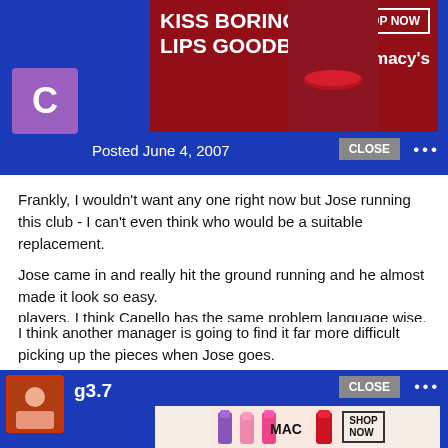[Figure (screenshot): Top banner advertisement: 'KISS BORING LIPS GOODBYE' Macy's ad with SHOP NOW button and CLOSE button on dark blue background with user avatar 'C' and 'Posted June 4, 2007']
Frankly, I wouldn't want any one right now but Jose running this club - I can't even think who would be a suitable replacement.
Also isn't Scolari's English not that wonderful? You need to be able to communicate properly in the media and with the players. I think Capello has the same problem language wise.
Jose came in and really hit the ground running and he almost made it look so easy.
I think another manager is going to find it far more difficult picking up the pieces when Jose goes.
[Figure (screenshot): Bottom banner advertisement: 'g3.7' user label with MAC cosmetics lipstick ad showing SHOP NOW button and CLOSE button on dark blue background]